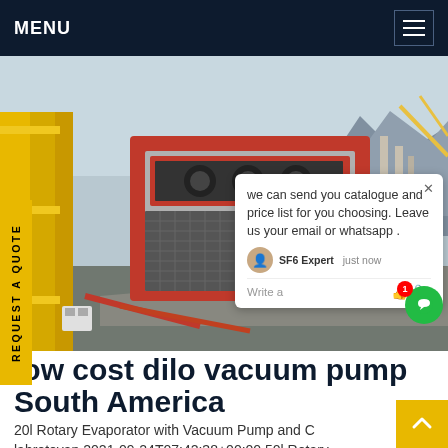MENU
[Figure (photo): Industrial photo showing yellow and red heavy equipment/SF6 gas handling unit at an outdoor industrial site with mountains and cranes in background. Chat popup overlay visible.]
we can send you catalogue and price list for you choosing. Leave us your email or whatsapp .
SF6 Expert    just now
Write a
low cost dilo vacuum pump South America
20l Rotary Evaporator with Vacuum Pump and C labrotovap 2021-09-24T07:42:38+00:00 50l Rotary